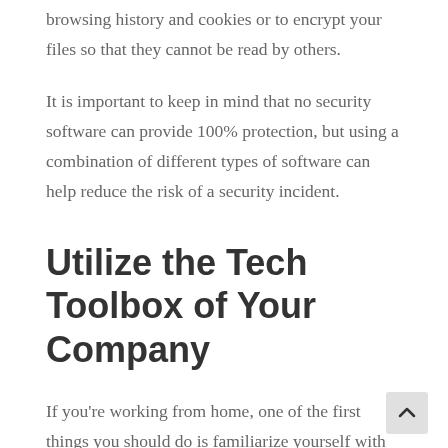browsing history and cookies or to encrypt your files so that they cannot be read by others.
It is important to keep in mind that no security software can provide 100% protection, but using a combination of different types of software can help reduce the risk of a security incident.
Utilize the Tech Toolbox of Your Company
If you're working from home, one of the first things you should do is familiarize yourself with the resources provided by your company, whether that's remote working software, security apps, hardware, etc. Each company has its own set of tools and it's important to be